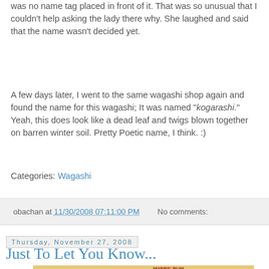was no name tag placed in front of it. That was so unusual that I couldn't help asking the lady there why. She laughed and said that the name wasn't decided yet.
A few days later, I went to the same wagashi shop again and found the name for this wagashi; It was named "kogarashi." Yeah, this does look like a dead leaf and twigs blown together on barren winter soil. Pretty Poetic name, I think. :)
Categories: Wagashi
obachan at 11/30/2008 07:11:00 PM   No comments:
Thursday, November 27, 2008
Just To Let You Know...
[Figure (photo): Photo showing a bottle of Myers' Rum with a painted or illustrated background featuring tropical colors and imagery.]